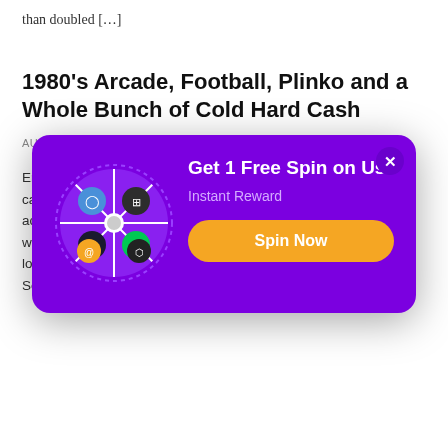than doubled […]
1980's Arcade, Football, Plinko and a Whole Bunch of Cold Hard Cash
AUGUST 12, 2022 BY EDWARD — LEAVE A COMMENT
Enjoy the latest promotions and all of the sweet tasting cash … ways … a lot g … s. Som
[Figure (infographic): Purple modal popup with a spinner wheel on the left showing colored segments with icons, title 'Get 1 Free Spin on Us', subtitle 'Instant Reward', and an orange 'Spin Now' button. A close X button is in the top right corner.]